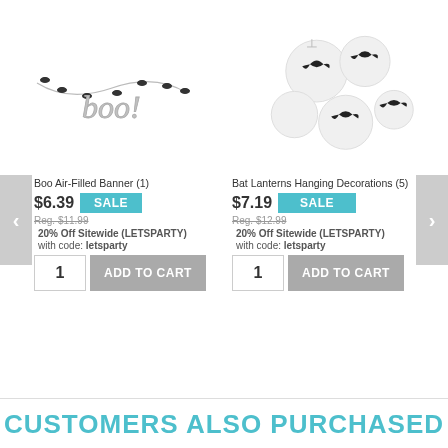[Figure (photo): Boo Air-Filled Banner product image - silver 'boo!' lettering with bat garland]
[Figure (photo): Bat Lanterns Hanging Decorations product image - white paper lanterns with black bat cutouts]
Boo Air-Filled Banner (1)
$6.39   SALE
Reg. $11.99
20% Off Sitewide (LETSPARTY)
with code: letsparty
Bat Lanterns Hanging Decorations (5)
$7.19   SALE
Reg. $12.99
20% Off Sitewide (LETSPARTY)
with code: letsparty
CUSTOMERS ALSO PURCHASED